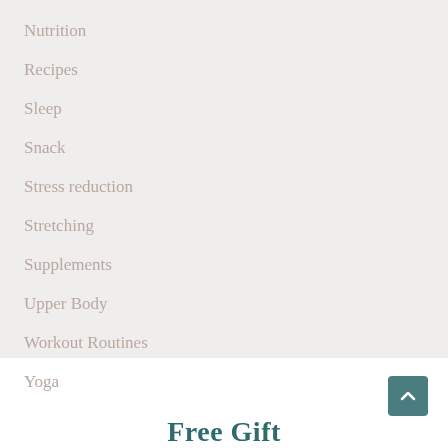Nutrition
Recipes
Sleep
Snack
Stress reduction
Stretching
Supplements
Upper Body
Workout Routines
Yoga
Free Gift